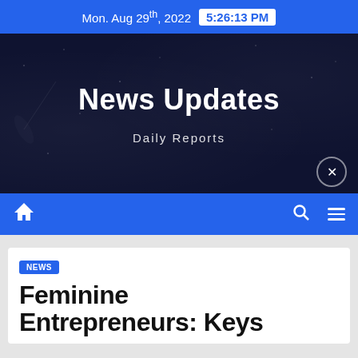Mon. Aug 29th, 2022 5:26:13 PM
News Updates
Daily Reports
NEWS
Feminine Entrepreneurs: Keys